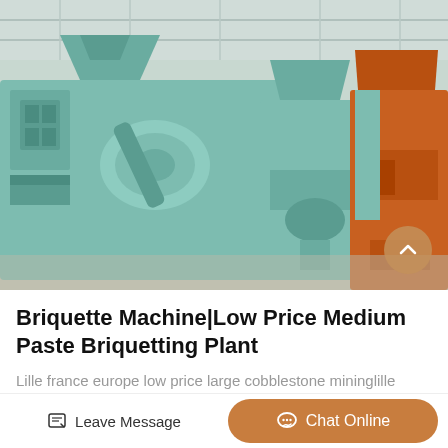[Figure (photo): Industrial factory floor showing multiple large briquetting machines painted in light teal/mint green color, with one orange machine visible on the right side. Machines are arranged in a row inside a warehouse with high ceilings.]
Briquette Machine|Low Price Medium Paste Briquetting Plant
Lille france europe low price large cobblestone mininglille france europe low price large cobblestone